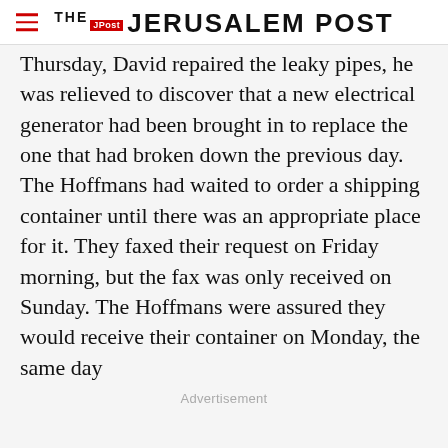THE JERUSALEM POST
Thursday, David repaired the leaky pipes, he was relieved to discover that a new electrical generator had been brought in to replace the one that had broken down the previous day. The Hoffmans had waited to order a shipping container until there was an appropriate place for it. They faxed their request on Friday morning, but the fax was only received on Sunday. The Hoffmans were assured they would receive their container on Monday, the same day
Advertisement